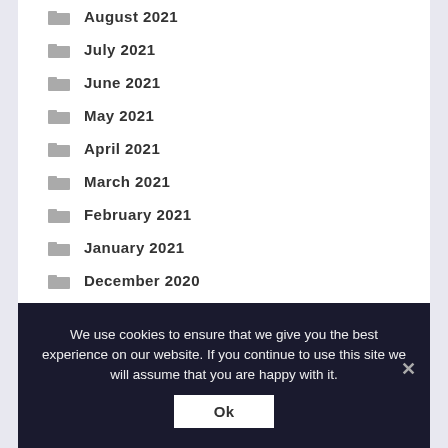August 2021
July 2021
June 2021
May 2021
April 2021
March 2021
February 2021
January 2021
December 2020
November 2020
October 2020
We use cookies to ensure that we give you the best experience on our website. If you continue to use this site we will assume that you are happy with it.
Ok